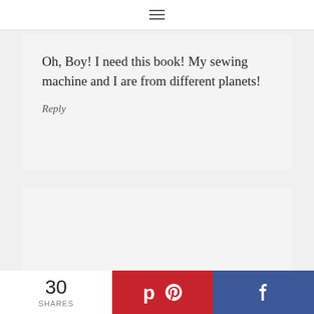≡
Oh, Boy! I need this book! My sewing machine and I are from different planets!
Reply
[Figure (other): Empty gray content area placeholder]
30 SHARES | Pinterest share button | Facebook share button